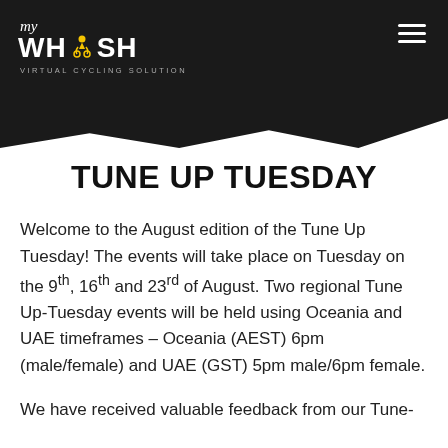[Figure (logo): My Whoosh Virtual Cycling Solution logo - white text on black background with yellow cyclist icon]
TUNE UP TUESDAY
Welcome to the August edition of the Tune Up Tuesday! The events will take place on Tuesday on the 9th, 16th and 23rd of August. Two regional Tune Up-Tuesday events will be held using Oceania and UAE timeframes – Oceania (AEST) 6pm (male/female) and UAE (GST) 5pm male/6pm female.
We have received valuable feedback from our Tune-